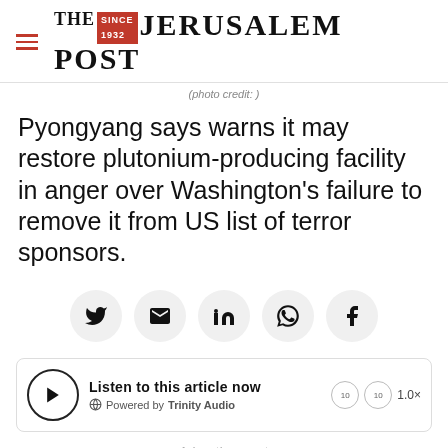THE JERUSALEM POST
(photo credit: )
Pyongyang says warns it may restore plutonium-producing facility in anger over Washington's failure to remove it from US list of terror sponsors.
[Figure (infographic): Social share buttons: Twitter, Email, LinkedIn, WhatsApp, Facebook]
[Figure (infographic): Audio player: Listen to this article now. Powered by Trinity Audio. Play button, rewind/forward controls, speed 1.0x]
Advertisement